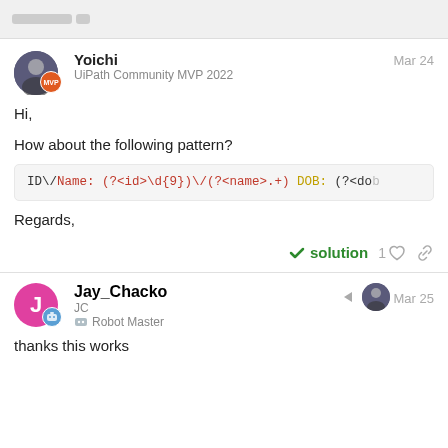Yoichi
UiPath Community MVP 2022
Mar 24
Hi,

How about the following pattern?

ID\/Name: (?<id>\d{9})\/(?<name>.+) DOB: (?<dob
Regards,
solution  1
Jay_Chacko
JC
Robot Master
Mar 25
thanks this works